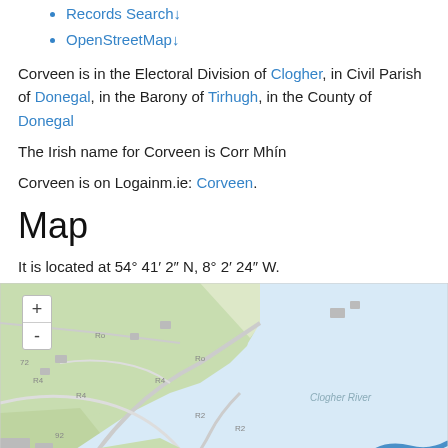Records Search↓
OpenStreetMap↓
Corveen is in the Electoral Division of Clogher, in Civil Parish of Donegal, in the Barony of Tirhugh, in the County of Donegal
The Irish name for Corveen is Corr Mhín
Corveen is on Logainm.ie: Corveen.
Map
It is located at 54° 41′ 2″ N, 8° 2′ 24″ W.
[Figure (map): OpenStreetMap showing Corveen area near Clogher River, County Donegal, Ireland. Green land areas with roads and the blue Clogher River visible at bottom right. Zoom controls (+/-) at top left.]